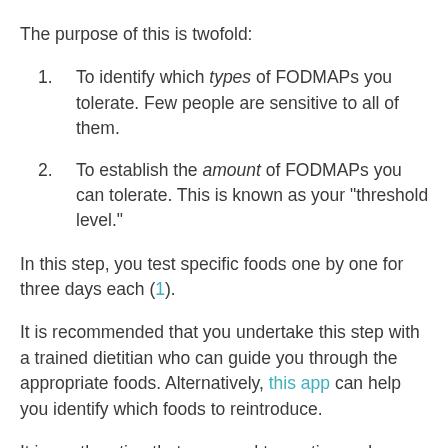The purpose of this is twofold:
To identify which types of FODMAPs you tolerate. Few people are sensitive to all of them.
To establish the amount of FODMAPs you can tolerate. This is known as your "threshold level."
In this step, you test specific foods one by one for three days each (1).
It is recommended that you undertake this step with a trained dietitian who can guide you through the appropriate foods. Alternatively, this app can help you identify which foods to reintroduce.
It is worth noting that you need to continue a low-